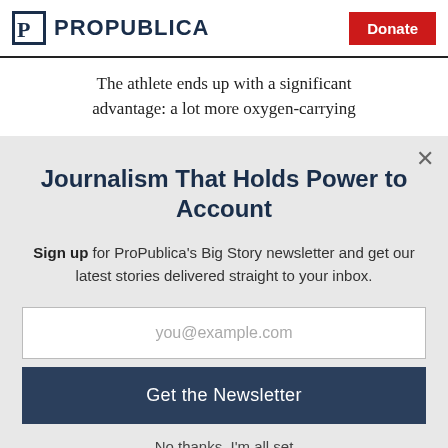ProPublica | Donate
The athlete ends up with a significant advantage: a lot more oxygen-carrying
Journalism That Holds Power to Account
Sign up for ProPublica's Big Story newsletter and get our latest stories delivered straight to your inbox.
you@example.com
Get the Newsletter
No thanks, I'm all set
This site is protected by reCAPTCHA and the Google Privacy Policy and Terms of Service apply.